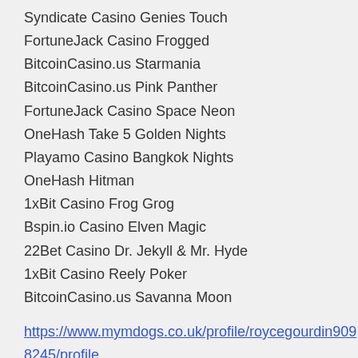Syndicate Casino Genies Touch
FortuneJack Casino Frogged
BitcoinCasino.us Starmania
BitcoinCasino.us Pink Panther
FortuneJack Casino Space Neon
OneHash Take 5 Golden Nights
Playamo Casino Bangkok Nights
OneHash Hitman
1xBit Casino Frog Grog
Bspin.io Casino Elven Magic
22Bet Casino Dr. Jekyll & Mr. Hyde
1xBit Casino Reely Poker
BitcoinCasino.us Savanna Moon
https://www.mymdogs.co.uk/profile/roycegourdin9098245/profile
https://www.ijandesign.com/profile/kaseyquattlebaum10489465/profile
https://www.katerinastassinaki.com/profile/darroncampisi12572523/profile
https://www.quickanddirect.ca/profile/filiberto...